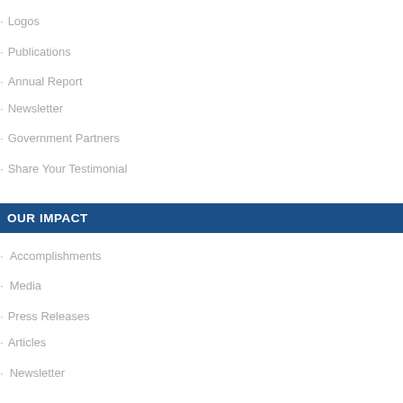Logos
Publications
Annual Report
Newsletter
Government Partners
Share Your Testimonial
OUR IMPACT
Accomplishments
Media
Press Releases
Articles
Newsletter